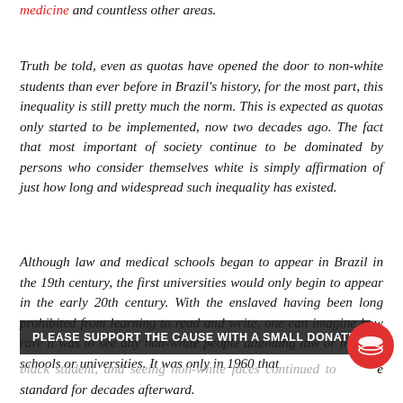medicine and countless other areas.
Truth be told, even as quotas have opened the door to non-white students than ever before in Brazil's history, for the most part, this inequality is still pretty much the norm. This is expected as quotas only started to be implemented, now two decades ago. The fact that most important of society continue to be dominated by persons who consider themselves white is simply affirmation of just how long and widespread such inequality has existed.
Although law and medical schools began to appear in Brazil in the 19th century, the first universities would only begin to appear in the early 20th century. With the enslaved having been long prohibited from learning to read and write, one can imagine how rare it was to see any non-white people attending law or medical schools or universities. It was only in 1960 that
black student, and seeing non-white faces continued to be the standard for decades afterward.